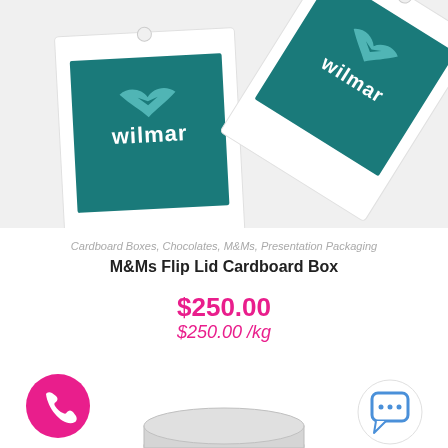[Figure (photo): Two white cardboard hang tags with teal/dark cyan square panels printed with the Wilmar logo (a stylized bird/check mark and the word 'wilmar' in white). One tag faces forward, the other is rotated at an angle.]
Cardboard Boxes, Chocolates, M&Ms, Presentation Packaging
M&Ms Flip Lid Cardboard Box
$250.00
$250.00 /kg
[Figure (illustration): Pink circular phone/call button icon (bottom left) and white circular chat bubble icon (bottom right). Partial view of a round metallic product tin at the bottom center.]